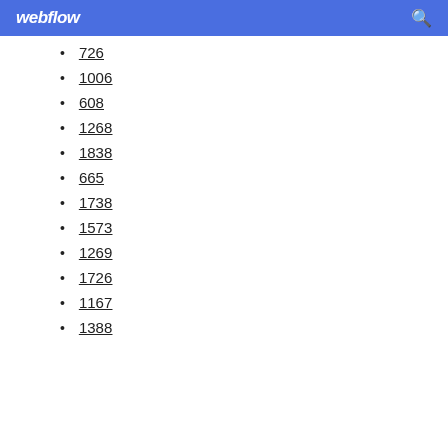webflow
726
1006
608
1268
1838
665
1738
1573
1269
1726
1167
1388